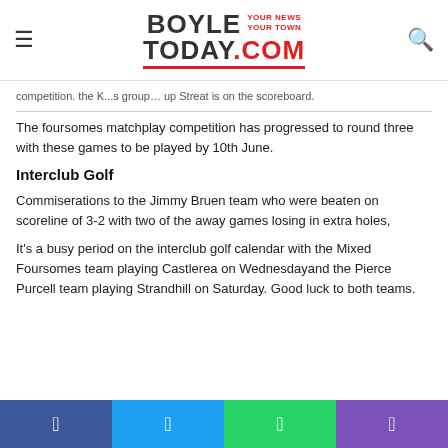BoyleToday.com — YOUR NEWS YOUR TOWN
competition. the K...s group is on the scoreboard.
The foursomes matchplay competition has progressed to round three with these games to be played by 10th June.
Interclub Golf
Commiserations to the Jimmy Bruen team who were beaten on scoreline of 3-2 with two of the away games losing in extra holes,
It's a busy period on the interclub golf calendar with the Mixed Foursomes team playing Castlerea on Wednesdayand the Pierce Purcell team playing Strandhill on Saturday. Good luck to both teams.
Facebook | Twitter | WhatsApp | Phone